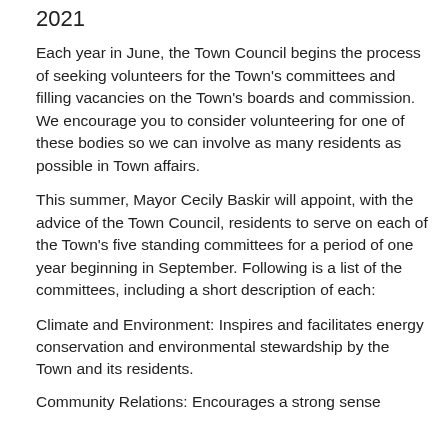2021
Each year in June, the Town Council begins the process of seeking volunteers for the Town's committees and filling vacancies on the Town's boards and commission. We encourage you to consider volunteering for one of these bodies so we can involve as many residents as possible in Town affairs.
This summer, Mayor Cecily Baskir will appoint, with the advice of the Town Council, residents to serve on each of the Town's five standing committees for a period of one year beginning in September. Following is a list of the committees, including a short description of each:
Climate and Environment: Inspires and facilitates energy conservation and environmental stewardship by the Town and its residents.
Community Relations: Encourages a strong sense